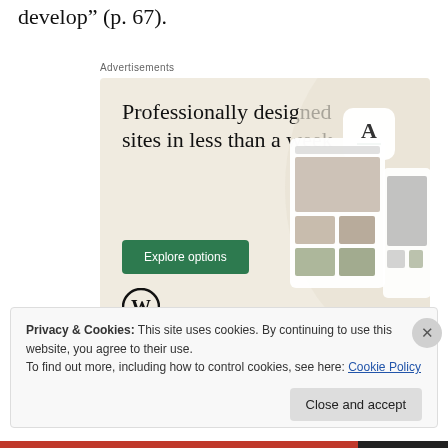develop” (p. 67).
Advertisements
[Figure (illustration): WordPress advertisement showing 'Professionally designed sites in less than a week' with an Explore options button, WordPress logo, and phone/tablet mockups showing website designs on a beige background.]
Privacy & Cookies: This site uses cookies. By continuing to use this website, you agree to their use.
To find out more, including how to control cookies, see here: Cookie Policy
Close and accept